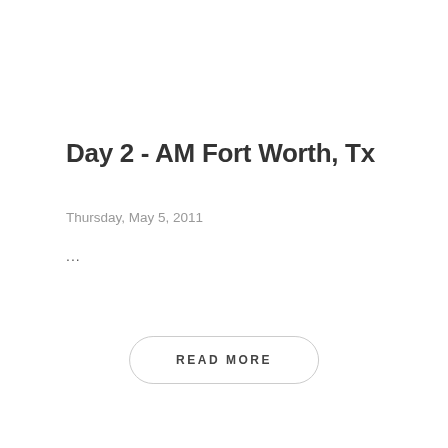Day 2 - AM Fort Worth, Tx
Thursday, May 5, 2011
...
READ MORE